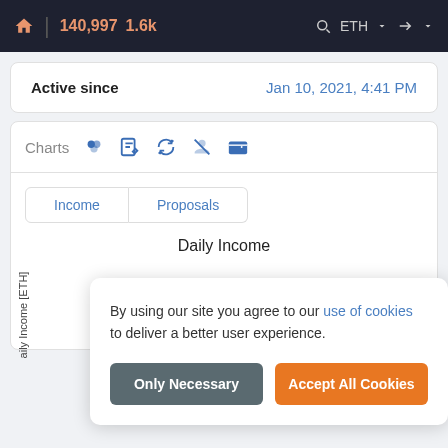🏠 | 140,997  1.6k  🔍  ETH ▼  ➡ ▼
| Active since |  |
| --- | --- |
| Active since | Jan 10, 2021, 4:41 PM |
Charts  [icons: tokens, edit, refresh, no-user, wallet]
Income | Proposals
Daily Income
By using our site you agree to our use of cookies to deliver a better user experience.
Only Necessary    Accept All Cookies